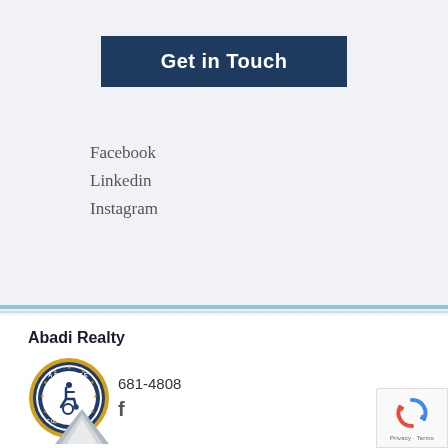Get in Touch
Facebook
Linkedin
Instagram
Abadi Realty
[Figure (logo): ADA Site Compliance badge with wheelchair accessibility symbol, circular gold and navy design]
681-4808
f
[Figure (logo): Google reCAPTCHA badge with spinning arrow logo, Privacy · Terms text]